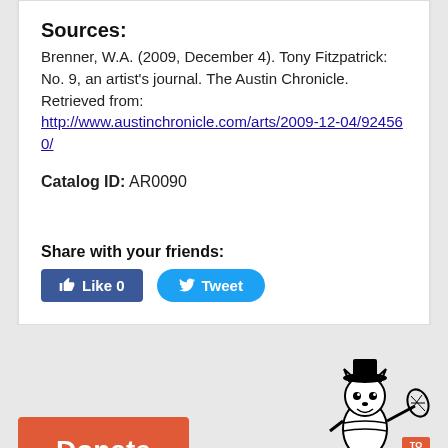Sources:
Brenner, W.A. (2009, December 4). Tony Fitzpatrick: No. 9, an artist's journal. The Austin Chronicle. Retrieved from: http://www.austinchronicle.com/arts/2009-12-04/924560/
Catalog ID: AR0090
Share with your friends:
[Figure (infographic): Facebook Like button (blue, rounded rectangle) with thumbs up icon and 'Like 0' text, and a Twitter Tweet button (blue, pill shape) with bird icon and 'Tweet' text]
[Figure (infographic): Orange/red Donate button (rectangle) with bold white 'Donate' text]
[Figure (illustration): Black and white cartoon mascot bee/insect character holding a lacrosse stick, with 'TO TOP' text and an orange search icon]
Search
CATEGORY